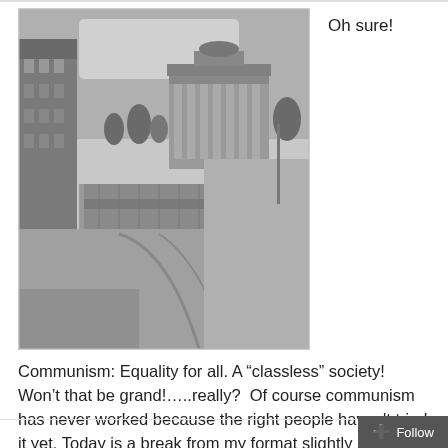[Figure (photo): Black and white photograph of the Berlin Wall with the Brandenburg Gate visible in the background. A wide empty road runs alongside the wall, with barbed wire and concrete barriers visible. Buildings on the left side.]
Oh sure!
Communism: Equality for all. A “classless” society! Won’t that be grand!…..really?  Of course communism has never worked because the right people haven't tried it yet. Today is a break from my format slightly in that I’m having guests on tonight. I have a guest who is an immigrant that lived in Germany under […]